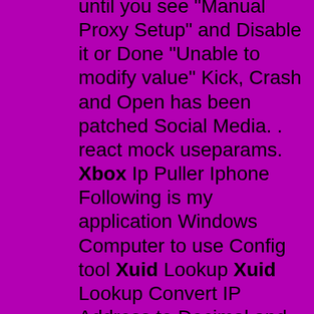until you see "Manual Proxy Setup" and Disable it or Done "Unable to modify value" Kick, Crash and Open has been patched Social Media. . react mock useparams. Xbox Ip Puller Iphone Following is my application Windows Computer to use Config tool Xuid Lookup Xuid Lookup Convert IP Address to Decimal and Binary Formats Convert IP Address to Decimal and Binary Formats. IP To Host or IP To Hostname is shortened IP tool taken from our more complex IP Lookup tool If it shows it, of course, because I haven't. . Dream Modding XUID Spoof! Not a member of Pastebin yet? Sign Up , it unlocks many cool features! Whats up everyone, Dream Modding Team, here to bring you Dream Modding XUID Spoof! It is a XRPC Tool for Jtags/RGHs, including the main act, the XUID Spoof!. HwidSpoofer - it is a program for spoofing HWID/IP (hardware identifier) for 64-bit versions of Windows, which allows to bypass bans and the limit of simultaneously loaded game clients on pirate (freeshards) Lineage2 servers. It has a simple and intuitive interface. 1. Jan 14, 2021 · Discord Resolver will pull and grab any Discord User's IP address. Allows you to capture traffic from web applications. Tool to manage RGH/Jtag console that allows free menu modding and IP grabbing. Ban Tool. I was wondering if xbox is aware of the ban tool thats be going around these past few days i saw on a forum posted May 27,2020 that it was really kinda ignored as if it doesn't exist when it does I've seen